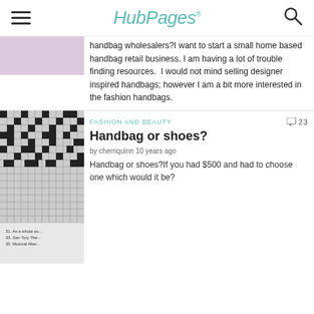HubPages
handbag wholesalers?I want to start a small home based handbag retail business. I am having a lot of trouble finding resources.  I would not mind selling designer inspired handbags; however I am a bit more interested in the fashion handbags.
FASHION AND BEAUTY  23
Handbag or shoes?
by cherriquinn 10 years ago
Handbag or shoes?If you had $500 and had to choose one which would it be?